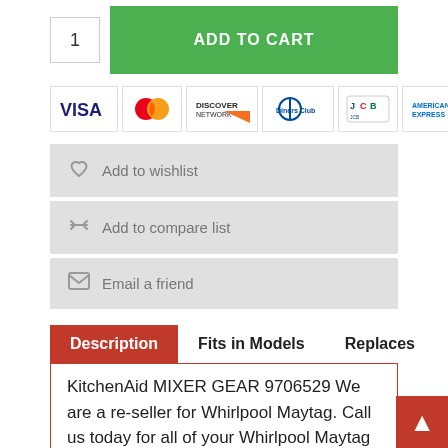[Figure (screenshot): Quantity input box showing '1' and green ADD TO CART button]
[Figure (screenshot): Row of payment method logos: VISA, Mastercard, Discover, Diners Club, JCB, American Express]
Add to wishlist
Add to compare list
Email a friend
Description
Fits in Models
Replaces
KitchenAid MIXER GEAR 9706529 We are a re-seller for Whirlpool Maytag. Call us today for all of your Whirlpool Maytag appliance parts and accessories needs.